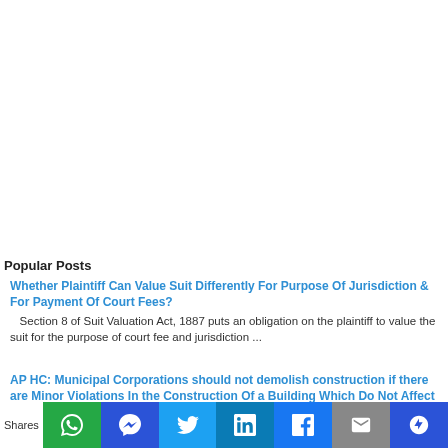Popular Posts
Whether Plaintiff Can Value Suit Differently For Purpose Of Jurisdiction & For Payment Of Court Fees?
Section 8 of Suit Valuation Act, 1887 puts an obligation on the plaintiff to value the suit for the purpose of court fee and jurisdiction ...
AP HC: Municipal Corporations should not demolish construction if there are Minor Violations In the Construction Of a Building Which Do Not Affect the Public At Large
Shares